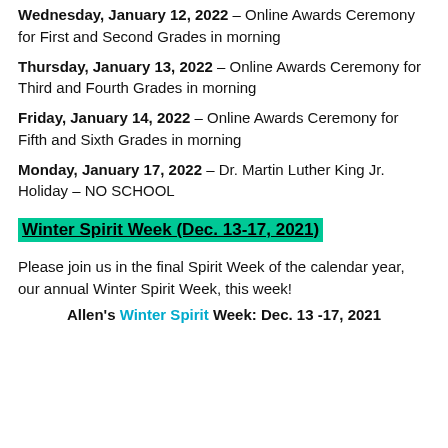Wednesday, January 12, 2022 – Online Awards Ceremony for First and Second Grades in morning
Thursday, January 13, 2022 – Online Awards Ceremony for Third and Fourth Grades in morning
Friday, January 14, 2022 – Online Awards Ceremony for Fifth and Sixth Grades in morning
Monday, January 17, 2022 – Dr. Martin Luther King Jr. Holiday – NO SCHOOL
Winter Spirit Week (Dec. 13-17, 2021)
Please join us in the final Spirit Week of the calendar year, our annual Winter Spirit Week, this week!
Allen's Winter Spirit Week: Dec. 13 -17, 2021